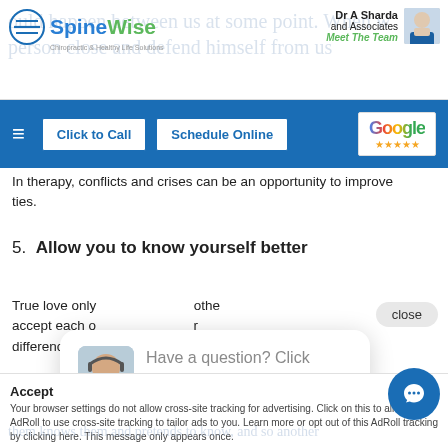SpineWise — Dr A Sharda and Associates — Meet The Team
In therapy, conflicts and crises can be an opportunity to improve ties.
5. Allow you to know yourself better
True love only ... other ... accept each other ... r ... differences.
But who should know first? Yes, self.
Have a question? Click and we'll send you a special just for asking!
Accept
Your browser settings do not allow cross-site tracking for advertising. Click on this to allow AdRoll to use cross-site tracking to tailor ads to you. Learn more or opt out of this AdRoll tracking by clicking here. This message only appears once.